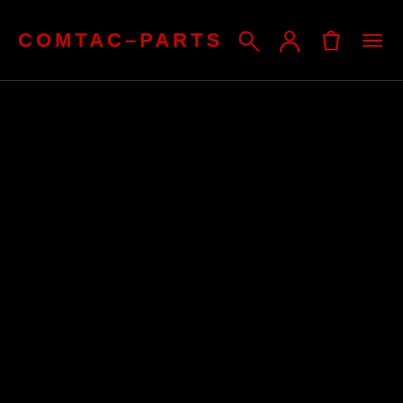COMTAC-PARTS
[Figure (screenshot): Black main content area below navigation header]